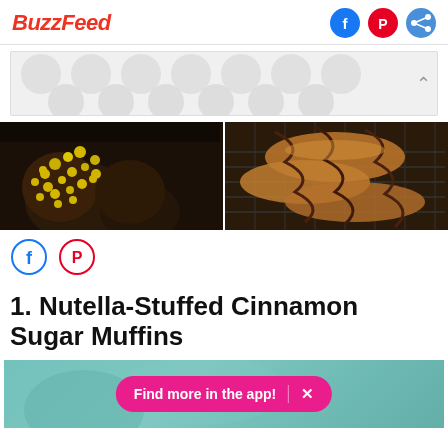BuzzFeed
[Figure (other): Advertisement banner with polka dot pattern]
[Figure (photo): Two food photos side by side: left shows chocolate muffins with yellow sprinkles, right shows pastries with chocolate drizzle on a cooling rack]
[Figure (other): Social share buttons row: Facebook and Pinterest circle icons]
1. Nutella-Stuffed Cinnamon Sugar Muffins
[Figure (other): Bottom of page showing teal/mint colored food image with pink 'Find more in the app!' pill button with X close button]